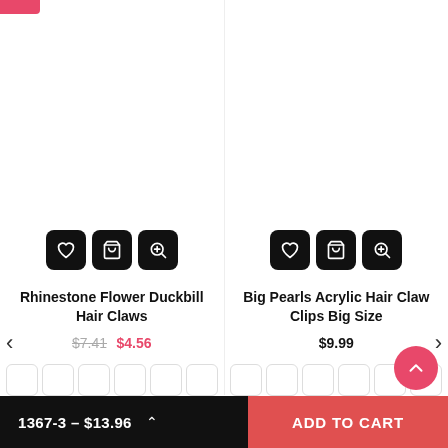[Figure (screenshot): Pink sale tag stub in top-left corner]
Rhinestone Flower Duckbill Hair Claws
$7.41  $4.56
Big Pearls Acrylic Hair Claw Clips Big Size
$9.99
1367-3 – $13.96  ADD TO CART